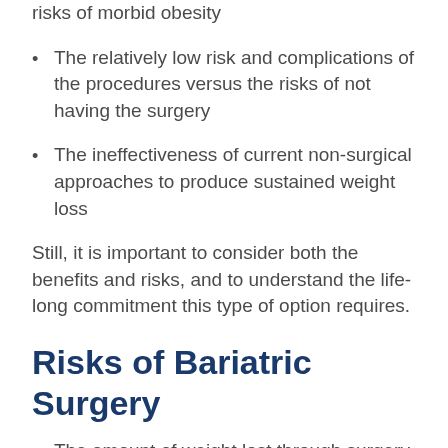risks of morbid obesity
The relatively low risk and complications of the procedures versus the risks of not having the surgery
The ineffectiveness of current non-surgical approaches to produce sustained weight loss
Still, it is important to consider both the benefits and risks, and to understand the life-long commitment this type of option requires.
Risks of Bariatric Surgery
The amount of weight lost through surgery varies
There is no guarantee the surgery will be successful
If diet guidelines are not followed, the weight